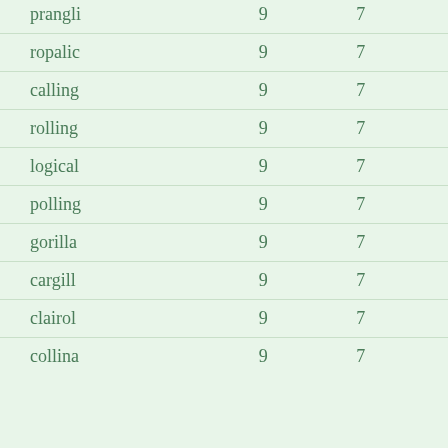| prangli | 9 | 7 |
| ropalic | 9 | 7 |
| calling | 9 | 7 |
| rolling | 9 | 7 |
| logical | 9 | 7 |
| polling | 9 | 7 |
| gorilla | 9 | 7 |
| cargill | 9 | 7 |
| clairol | 9 | 7 |
| collina | 9 | 7 |